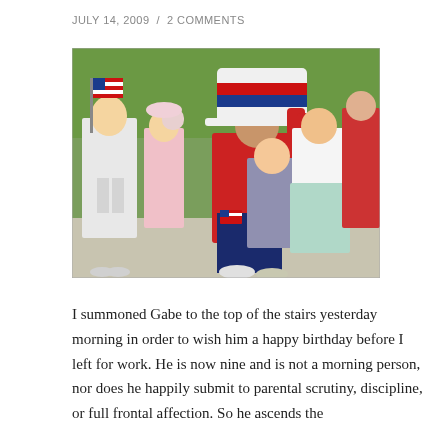JULY 14, 2009  /  2 COMMENTS
[Figure (photo): Children in patriotic costumes during a parade. A boy in the center wears a red shirt and a red, white, and blue top hat with face paint. Other children in the background wear various red, white, and blue outfits. Green grass is visible in the background.]
I summoned Gabe to the top of the stairs yesterday morning in order to wish him a happy birthday before I left for work. He is now nine and is not a morning person, nor does he happily submit to parental scrutiny, discipline, or full frontal affection. So he ascends the